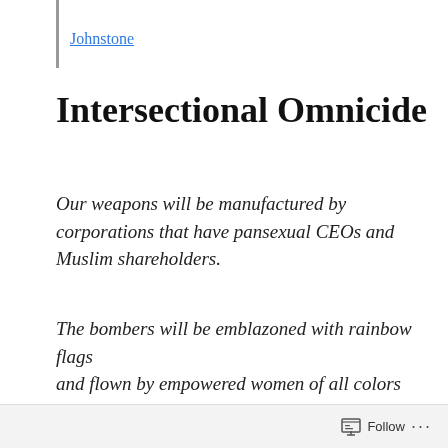Johnstone
Intersectional Omnicide
Our weapons will be manufactured by corporations that have pansexual CEOs and Muslim shareholders.
The bombers will be emblazoned with rainbow flags
and flown by empowered women of all colors
who will scream “YAAASS QUEEN!” as the mushroom clouds arise.
Follow